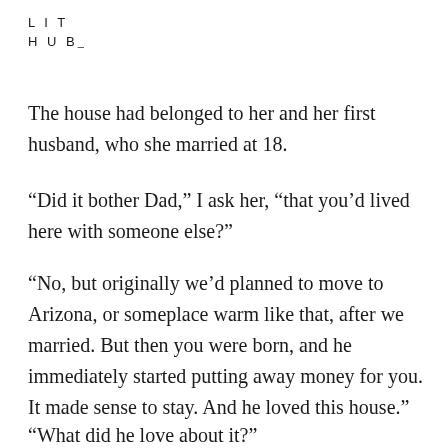L I T
H U B
The house had belonged to her and her first husband, who she married at 18.
“Did it bother Dad,” I ask her, “that you’d lived here with someone else?”
“No, but originally we’d planned to move to Arizona, or someplace warm like that, after we married. But then you were born, and he immediately started putting away money for you. It made sense to stay. And he loved this house.”
“What did he love about it?”